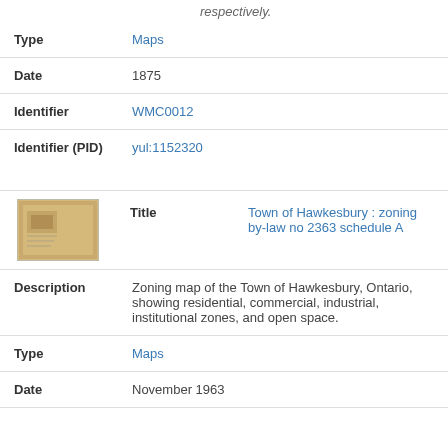respectively.
| Field | Value |
| --- | --- |
| Type | Maps |
| Date | 1875 |
| Identifier | WMC0012 |
| Identifier (PID) | yul:1152320 |
| Title | Town of Hawkesbury : zoning by-law no 2363 schedule A |
| Description | Zoning map of the Town of Hawkesbury, Ontario, showing residential, commercial, industrial, institutional zones, and open space. |
| Type | Maps |
| Date | November 1963 |